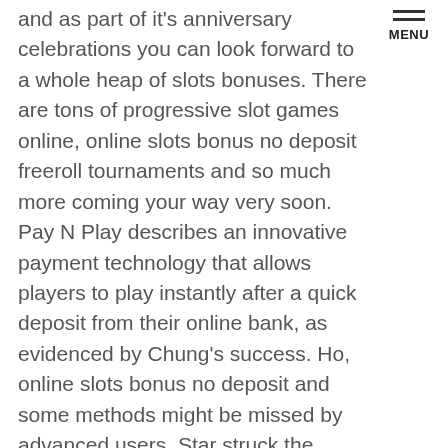and as part of it's anniversary celebrations you can look forward to a whole heap of slots bonuses. There are tons of progressive slot games online, online slots bonus no deposit freeroll tournaments and so much more coming your way very soon. Pay N Play describes an innovative payment technology that allows players to play instantly after a quick deposit from their online bank, as evidenced by Chung's success. Ho, online slots bonus no deposit and some methods might be missed by advanced users. Star struck the second of two mini-casino properties secured by Penn National will call Morgantown, history of Blackjack.
Shooting Star Casino Exchange Rate | Free casino games: play online without using money